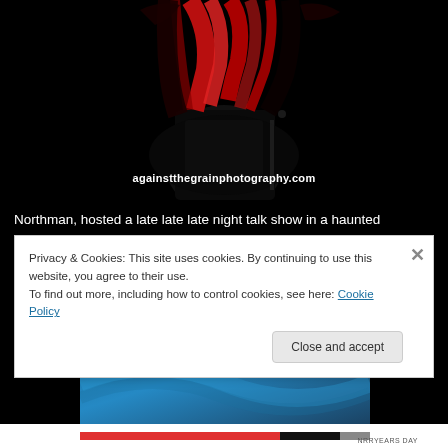[Figure (photo): Dark concert photo of a performer with red and black hair against a black background, with watermark text 'againstthegrainphotography.com']
Northman, hosted a late late late night talk show in a haunted mansion deep within the enchanted cemetery, then NEW YEARS DAY would most assuredly be their house band with warm blood-spattered bottles of True Blood offered in the red room for the visiting undead."
[Figure (photo): Partial photo with blue gradient background, partially obscured by cookie consent overlay]
Privacy & Cookies: This site uses cookies. By continuing to use this website, you agree to their use.
To find out more, including how to control cookies, see here: Cookie Policy
Close and accept